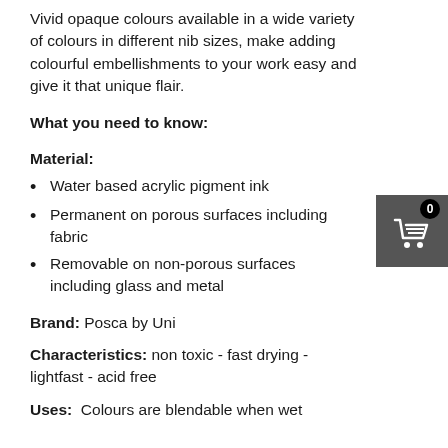Vivid opaque colours available in a wide variety of colours in different nib sizes, make adding colourful embellishments to your work easy and give it that unique flair.
What you need to know:
Material:
Water based acrylic pigment ink
Permanent on porous surfaces including fabric
Removable on non-porous surfaces including glass and metal
Brand: Posca by Uni
Characteristics: non toxic - fast drying - lightfast - acid free
Uses:  Colours are blendable when wet